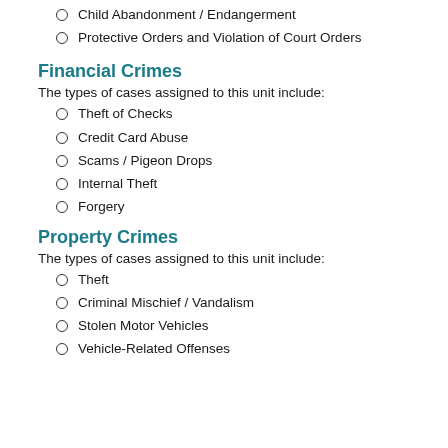Child Abandonment / Endangerment
Protective Orders and Violation of Court Orders
Financial Crimes
The types of cases assigned to this unit include:
Theft of Checks
Credit Card Abuse
Scams / Pigeon Drops
Internal Theft
Forgery
Property Crimes
The types of cases assigned to this unit include:
Theft
Criminal Mischief / Vandalism
Stolen Motor Vehicles
Vehicle-Related Offenses